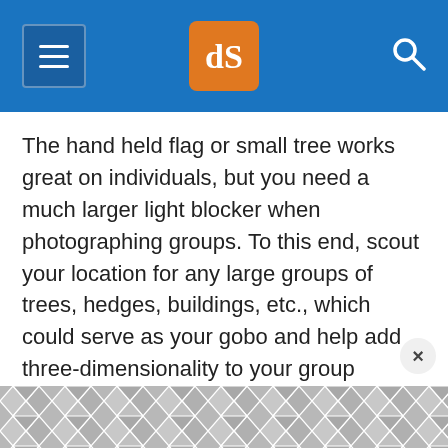dPS navigation header with menu, logo, and search
The hand held flag or small tree works great on individuals, but you need a much larger light blocker when photographing groups. To this end, scout your location for any large groups of trees, hedges, buildings, etc., which could serve as your gobo and help add three-dimensionality to your group portrait.
Again, to be effective, you must place your subject fairly close to the gobo so that you can
[Figure (other): Gray geometric hexagon/chevron tile pattern advertisement banner at bottom of page]